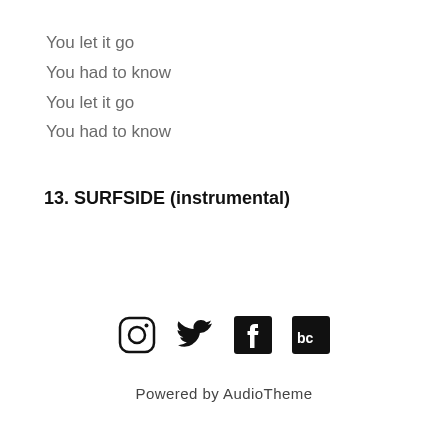You let it go
You had to know
You let it go
You had to know
13. SURFSIDE (instrumental)
[Figure (other): Social media icons: Instagram, Twitter, Facebook, Bandcamp]
Powered by AudioTheme